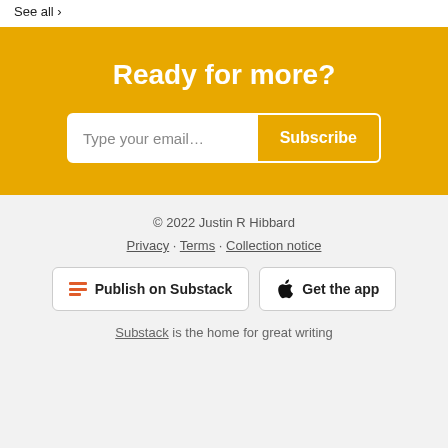See all ›
Ready for more?
Type your email... Subscribe
© 2022 Justin R Hibbard
Privacy · Terms · Collection notice
Publish on Substack
Get the app
Substack is the home for great writing